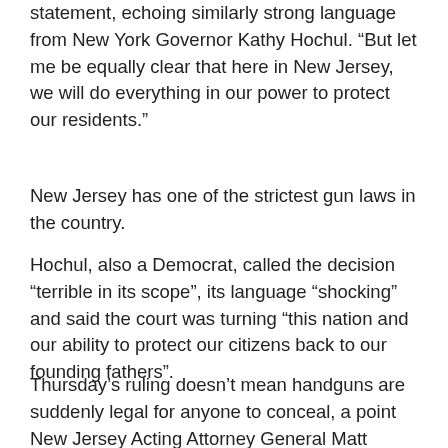statement, echoing similarly strong language from New York Governor Kathy Hochul. “But let me be equally clear that here in New Jersey, we will do everything in our power to protect our residents.”
New Jersey has one of the strictest gun laws in the country.
Hochul, also a Democrat, called the decision “terrible in its scope”, its language “shocking” and said the court was turning “this nation and our ability to protect our citizens back to our founding fathers”.
Thursday’s ruling doesn’t mean handguns are suddenly legal for anyone to conceal, a point New Jersey Acting Attorney General Matt Platkin sought to emphasize in a statement after the court ruling. People still have to get permits, and there are still permit requirements that remain in place. For example, current New Jersey law prohibits